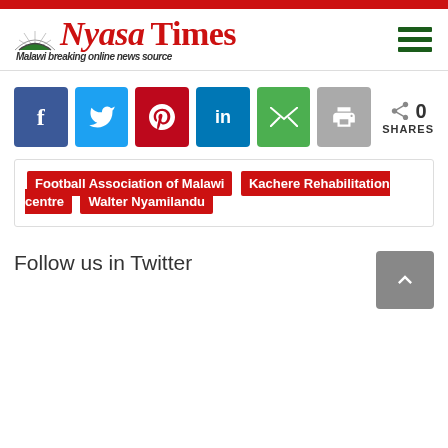Nyasa Times — Malawi breaking online news source
[Figure (infographic): Social share buttons: Facebook, Twitter, Pinterest, LinkedIn, Email, Print. Share count: 0 SHARES.]
Football Association of Malawi
Kachere Rehabilitation centre
Walter Nyamilandu
Follow us in Twitter